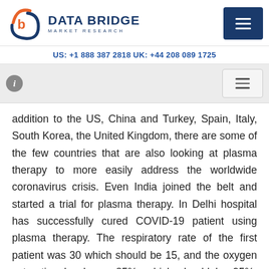DATA BRIDGE MARKET RESEARCH
US: +1 888 387 2818 UK: +44 208 089 1725
addition to the US, China and Turkey, Spain, Italy, South Korea, the United Kingdom, there are some of the few countries that are also looking at plasma therapy to more easily address the worldwide coronavirus crisis. Even India joined the belt and started a trial for plasma therapy. In Delhi hospital has successfully cured COVID-19 patient using plasma therapy. The respiratory rate of the first patient was 30 which should be 15, and the oxygen saturation level was 85%, which should be 95%. After plasma therapy, the respiratory rate was 20 and the oxygen saturation level was 98%. This has been observed in all patients with increased respiratory rate and oxygen